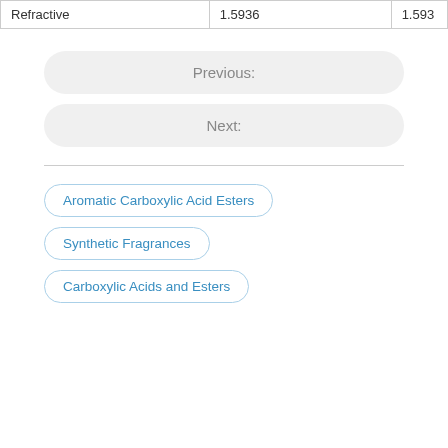|  |  |  |
| --- | --- | --- |
| Refractive | 1.5936 | 1.593 |
Previous:
Next:
Aromatic Carboxylic Acid Esters
Synthetic Fragrances
Carboxylic Acids and Esters